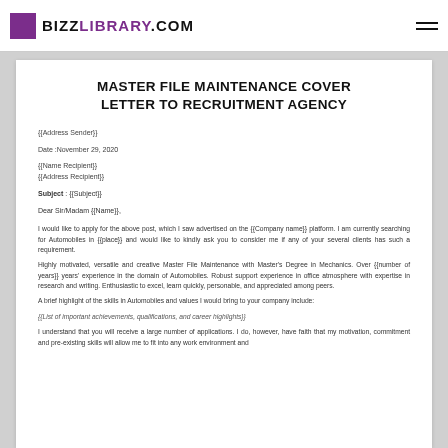BIZZLIBRARY.COM
MASTER FILE MAINTENANCE COVER LETTER TO RECRUITMENT AGENCY
{{Address Sender}}
Date :November 29, 2020
{{Name Recipient}}
{{Address Recipient}}
Subject : {{Subject}}
Dear Sir/Madam {{Name}},
I would like to apply for the above post, which I saw advertised on the {{Company name}} platform. I am currently searching for Automobiles in {{place}} and would like to kindly ask you to consider me if any of your several clients has such a requirement.
Highly motivated, versatile and creative Master File Maintenance with Master's Degree in Mechanics. Over {{number of years}} years' experience in the domain of Automobiles. Robust support experience in office atmosphere with expertise in research and writing. Enthusiastic to excel, learn quickly, personable, and appreciated among peers.
A brief highlight of the skills in Automobiles and values I would bring to your company include:
{{List of important achievements, qualifications, and career highlights}}
I understand that you will receive a large number of applications. I do, however, have faith that my motivation, commitment and pre-existing skills will allow me to fit into any work environment and